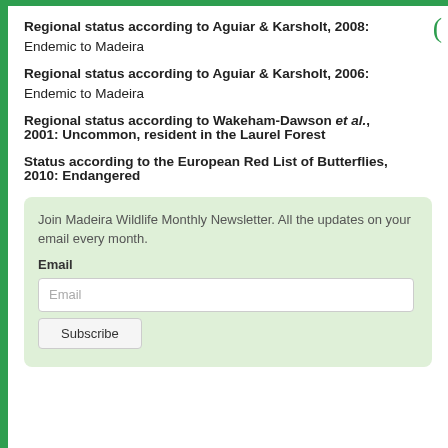Regional status according to Aguiar & Karsholt, 2008:
Endemic to Madeira
Regional status according to Aguiar & Karsholt, 2006:
Endemic to Madeira
Regional status according to Wakeham-Dawson et al., 2001: Uncommon, resident in the Laurel Forest
Status according to the European Red List of Butterflies, 2010: Endangered
Join Madeira Wildlife Monthly Newsletter. All the updates on your email every month.
Email
[Email input]
[Subscribe button]